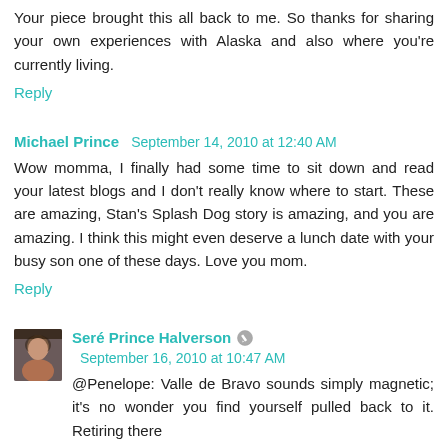Your piece brought this all back to me. So thanks for sharing your own experiences with Alaska and also where you're currently living.
Reply
Michael Prince  September 14, 2010 at 12:40 AM
Wow momma, I finally had some time to sit down and read your latest blogs and I don't really know where to start. These are amazing, Stan's Splash Dog story is amazing, and you are amazing. I think this might even deserve a lunch date with your busy son one of these days. Love you mom.
Reply
Seré Prince Halverson  September 16, 2010 at 10:47 AM
@Penelope: Valle de Bravo sounds simply magnetic; it's no wonder you find yourself pulled back to it. Retiring there